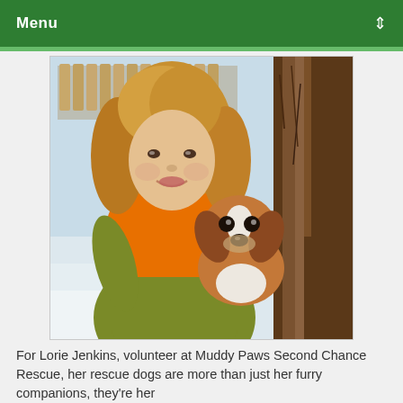Menu
[Figure (photo): A woman with curly blonde hair wearing an orange scarf and olive/yellow-green jacket, holding a small brown and white Cavalier King Charles Spaniel dog. They are outdoors in a winter/snowy setting with a wooden fence and large tree trunk in the background.]
For Lorie Jenkins, volunteer at Muddy Paws Second Chance Rescue, her rescue dogs are more than just her furry companions, they're her